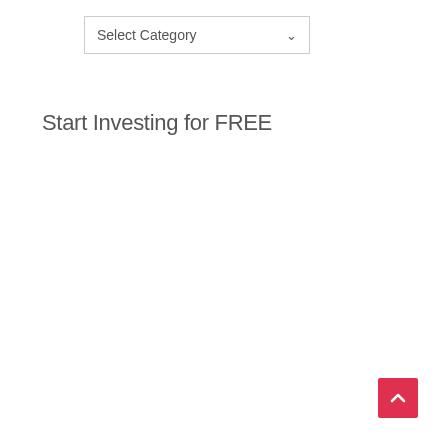[Figure (other): Dropdown/select box UI element with text 'Select Category' and a chevron arrow]
Start Investing for FREE
[Figure (other): Back to top button — red square with upward-pointing chevron arrow, positioned bottom-right]